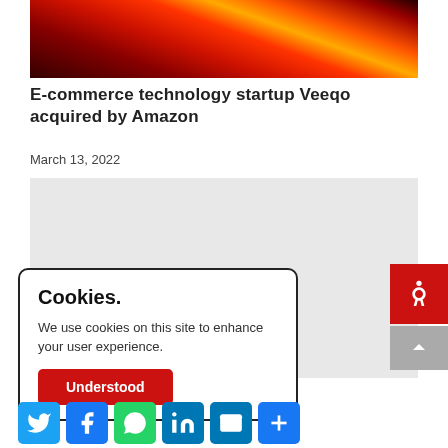[Figure (photo): Dark red/orange dramatic photo with light beams — likely a sci-fi or tech themed hero image]
E-commerce technology startup Veeqo acquired by Amazon
March 13, 2022
[Figure (other): Gray advertisement placeholder box]
Cookies.
We use cookies on this site to enhance your user experience.
[Understood button]
[Figure (other): Social sharing icons: Twitter, Facebook, WhatsApp, LinkedIn, Email, More]